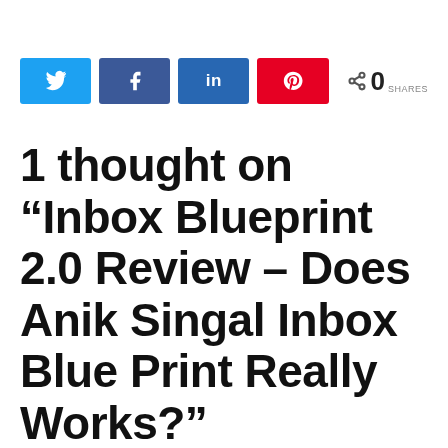[Figure (infographic): Social share buttons: Twitter (blue), Facebook (dark blue), LinkedIn (medium blue), Pinterest (red), and a share count showing 0 SHARES]
1 thought on “Inbox Blueprint 2.0 Review – Does Anik Singal Inbox Blue Print Really Works?”